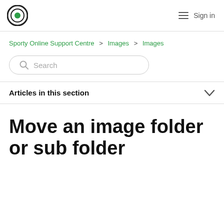Sporty Online logo | Sign in
Sporty Online Support Centre > Images > Images
[Figure (other): Search bar with magnifying glass icon and placeholder text 'Search']
Articles in this section
Move an image folder or sub folder